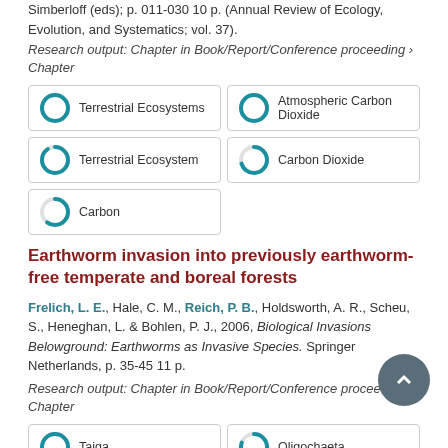Simberloff (eds); p. 011-030 10 p. (Annual Review of Ecology, Evolution, and Systematics; vol. 37).
Research output: Chapter in Book/Report/Conference proceeding › Chapter
[Figure (infographic): 5 keyword badges in a 2-column grid: Terrestrial Ecosystems (100%), Atmospheric Carbon Dioxide (100%), Terrestrial Ecosystem (90%), Carbon Dioxide (70%), Carbon (60%)]
Earthworm invasion into previously earthworm-free temperate and boreal forests
Frelich, L. E., Hale, C. M., Reich, P. B., Holdsworth, A. R., Scheu, S., Heneghan, L. & Bohlen, P. J., 2006, Biological Invasions Belowground: Earthworms as Invasive Species. Springer Netherlands, p. 35-45 11 p.
Research output: Chapter in Book/Report/Conference proceeding › Chapter
[Figure (infographic): 4 keyword badges in a 2-column grid: Taiga (100%), Oligochaeta (80%), Boreal Forests (60%), Temperate Forests (60%)]